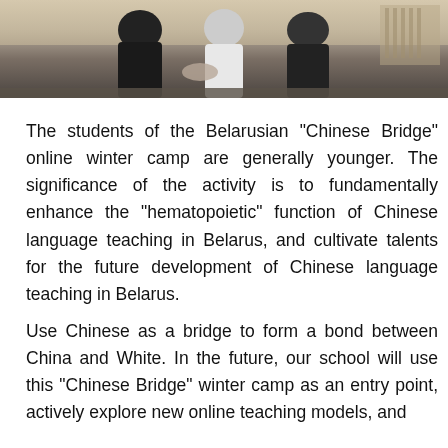[Figure (photo): Photograph of students or participants at the Belarusian Chinese Bridge camp, showing people in a room with a yellow/beige wall in the background.]
The students of the Belarusian "Chinese Bridge" online winter camp are generally younger. The significance of the activity is to fundamentally enhance the "hematopoietic" function of Chinese language teaching in Belarus, and cultivate talents for the future development of Chinese language teaching in Belarus.
Use Chinese as a bridge to form a bond between China and White. In the future, our school will use this "Chinese Bridge" winter camp as an entry point, actively explore new online teaching models, and